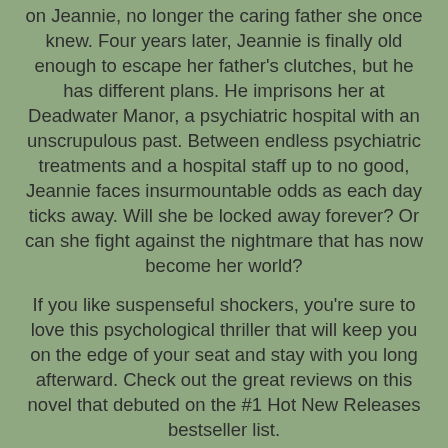on Jeannie, no longer the caring father she once knew. Four years later, Jeannie is finally old enough to escape her father's clutches, but he has different plans. He imprisons her at Deadwater Manor, a psychiatric hospital with an unscrupulous past. Between endless psychiatric treatments and a hospital staff up to no good, Jeannie faces insurmountable odds as each day ticks away. Will she be locked away forever? Or can she fight against the nightmare that has now become her world?
If you like suspenseful shockers, you're sure to love this psychological thriller that will keep you on the edge of your seat and stay with you long afterward. Check out the great reviews on this novel that debuted on the #1 Hot New Releases bestseller list.
Note: This book is intended for mature young adult, new adult, and older audiences due to profanity and sensual content.
BACKGROUND:
The inspiration for the story came from Sandie's beloved